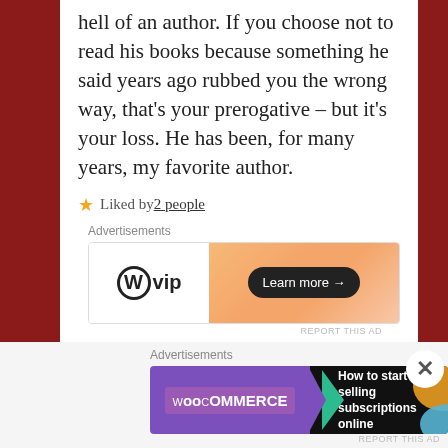hell of an author. If you choose not to read his books because something he said years ago rubbed you the wrong way, that's your prerogative – but it's your loss. He has been, for many years, my favorite author.
★ Liked by 2 people
[Figure (screenshot): WordPress VIP advertisement banner with 'Learn more →' button on orange gradient background]
Michelle Muto // October 29, 2016 at 9:19 pm //
Reply
[Figure (screenshot): WooCommerce advertisement: 'How to start selling subscriptions online' on dark background with orange and teal accents]